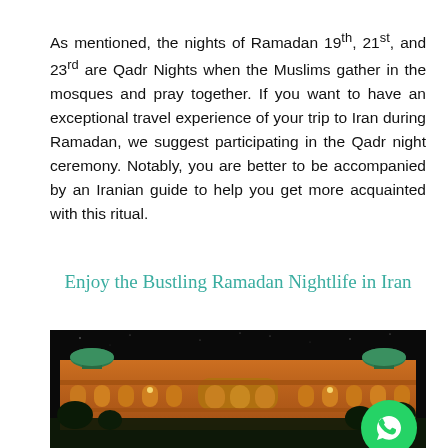As mentioned, the nights of Ramadan 19th, 21st, and 23rd are Qadr Nights when the Muslims gather in the mosques and pray together. If you want to have an exceptional travel experience of your trip to Iran during Ramadan, we suggest participating in the Qadr night ceremony. Notably, you are better to be accompanied by an Iranian guide to help you get more acquainted with this ritual.
Enjoy the Bustling Ramadan Nightlife in Iran
[Figure (photo): Night photograph of a historic Iranian building with illuminated orange facade, green domes, and arched windows, with trees in the foreground against a dark sky. A WhatsApp icon is overlaid in the bottom-right corner.]